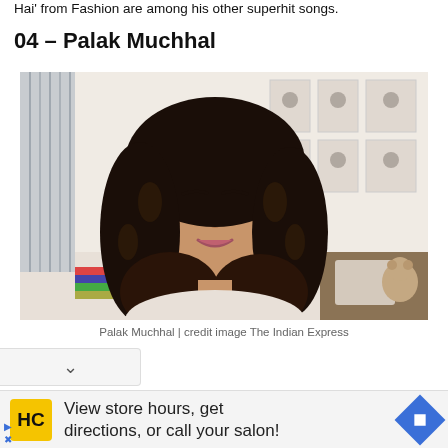Hai' from Fashion are among his other superhit songs.
04 – Palak Muchhal
[Figure (photo): Portrait photo of Palak Muchhal, a young woman with long curly dark hair, smiling, seated indoors with photos on wall in background]
Palak Muchhal | credit image The Indian Express
View store hours, get directions, or call your salon!